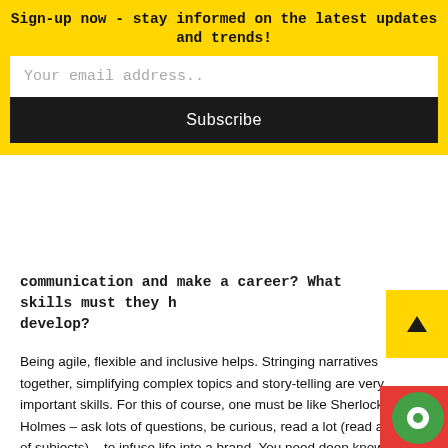Sign-up now - stay informed on the latest updates and trends!
Your email address..
Subscribe
communication and make a career? What skills must they have to develop?
Being agile, flexible and inclusive helps. Stringing narratives together, simplifying complex topics and story-telling are very important skills. For this of course, one must be like Sherlock Holmes – ask lots of questions, be curious, read a lot (read a variety of subjects) – to infuse life into a brand. You need deep knowledge, creativity and strong language skills.
7. What advice do you have for women in communications and how can they become their best in this domain? What challenges you face and how did you overcome it?